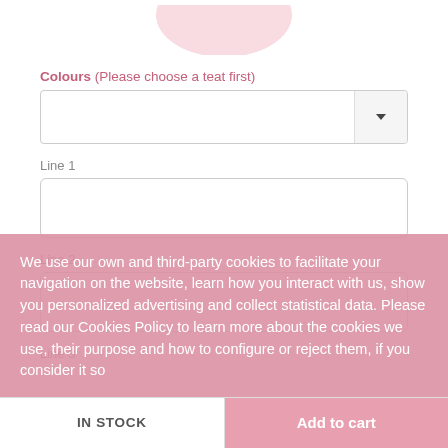[Figure (photo): Partial product image at top (bottom of a round pink container visible)]
Colours (Please choose a teat first)
[Figure (other): Dropdown select box for colours]
Line 1
[Figure (other): Text input area for Line 1]
Line 2
[Figure (other): Text input area for Line 2]
Line 3 (partial, cut off)
We use our own and third-party cookies to facilitate your navigation on the website, learn how you interact with us, show you personalized advertising and collect statistical data. Please read our Cookies Policy to learn more about the cookies we use, their purpose and how to configure or reject them, if you consider it so
IN STOCK
Add to cart